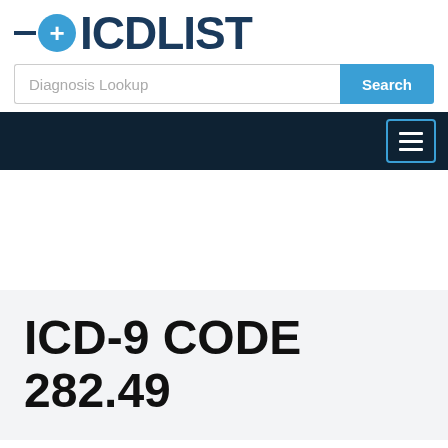[Figure (logo): ICD List logo with blue circle plus icon and dark navy text reading ICDLIST]
[Figure (screenshot): Diagnosis Lookup search bar with Search button]
[Figure (screenshot): Dark navy navigation bar with hamburger menu icon on the right]
ICD-9 CODE 282.49